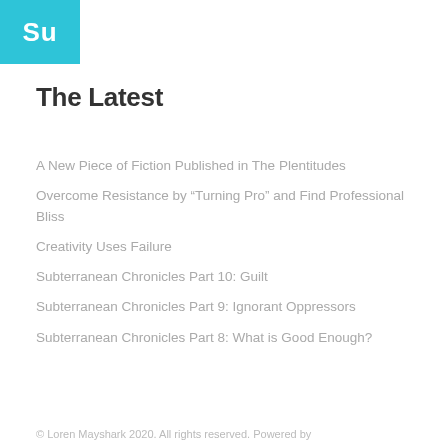[Figure (logo): Cyan/teal square logo with white text 'Su' in top-left corner]
The Latest
A New Piece of Fiction Published in The Plentitudes
Overcome Resistance by “Turning Pro” and Find Professional Bliss
Creativity Uses Failure
Subterranean Chronicles Part 10: Guilt
Subterranean Chronicles Part 9: Ignorant Oppressors
Subterranean Chronicles Part 8: What is Good Enough?
© Loren Mayshark 2020. All rights reserved. Powered by